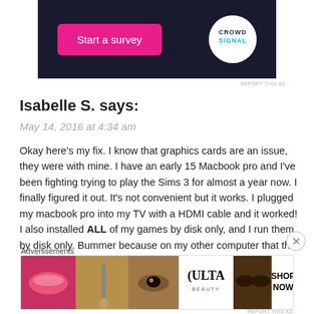[Figure (screenshot): Advertisement banner with dark navy background showing a pink 'Start a survey' button on the left and a white circular Crowd Signal logo on the right]
REPORT THIS AD
Isabelle S. says:
May 14, 2016 at 4:34 am
Okay here's my fix. I know that graphics cards are an issue, they were with mine. I have an early 15 Macbook pro and I've been fighting trying to play the Sims 3 for almost a year now. I finally figured it out. It's not convenient but it works. I plugged my macbook pro into my TV with a HDMI cable and it worked! I also installed ALL of my games by disk only, and I run them by disk only. Bummer because on my other computer that that I no longer use (because my sims on that computer crashes every 30 minutes) I...
Advertisements
[Figure (screenshot): Ulta Beauty advertisement showing makeup close-up photos of lips, a brush, an eye, the Ulta logo, smokey eyes, and a SHOP NOW button]